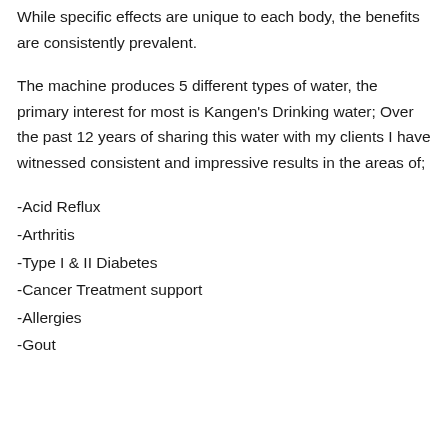While specific effects are unique to each body, the benefits are consistently prevalent.
The machine produces 5 different types of water, the primary interest for most is Kangen's Drinking water; Over the past 12 years of sharing this water with my clients I have witnessed consistent and impressive results in the areas of;
-Acid Reflux
-Arthritis
-Type I & II Diabetes
-Cancer Treatment support
-Allergies
-Gout